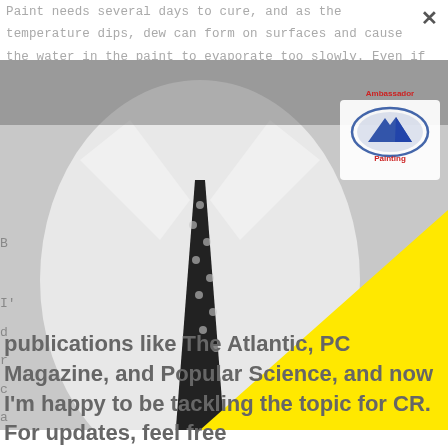Paint needs several days to cure, and as the temperature dips, dew can form on surfaces and cause the water in the paint to evaporate too slowly. Even if it's warm during the day, the paint won't form a good film if temperatures drop too low at night. That affects how the paint holds up over time, including how well it resists cracking. Colder temperatures and m... m...
B... ...ead
[Figure (photo): Black and white photo of a man in a white dress shirt with a black polka-dot tie and pocket square. An Ambassador Painting logo is visible on the shirt. A large yellow triangle overlaps the right and bottom portion of the image.]
I'... d... r... c... a...
publications like The Atlantic, PC Magazine, and Popular Science, and now I'm happy to be tackling the topic for CR. For updates, feel free